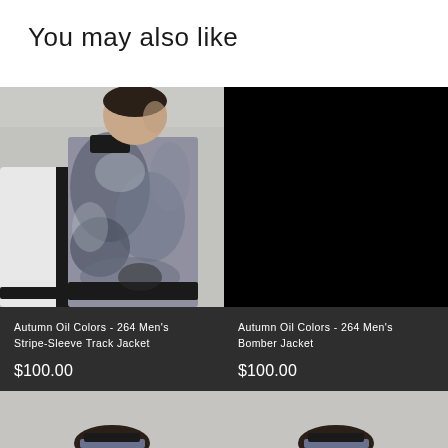You may also like
[Figure (photo): Man wearing Autumn Oil Colors pattern stripe-sleeve track jacket, side profile view on light grey background]
Autumn Oil Colors - 264 Men's Stripe-Sleeve Track Jacket
$100.00
[Figure (photo): Black background product image for Autumn Oil Colors - 264 Men's Bomber Jacket]
Autumn Oil Colors - 264 Men's Bomber Jacket
$100.00
[Figure (photo): Partial view of man wearing patterned jacket, cropped at bottom of page, left product]
[Figure (photo): Partial view of man wearing patterned jacket, cropped at bottom of page, right product]